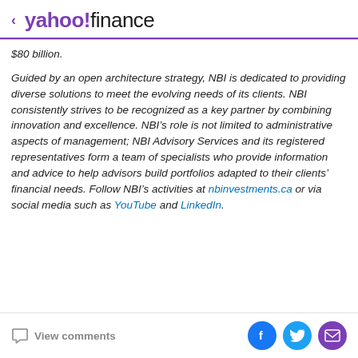< yahoo!finance
$80 billion.
Guided by an open architecture strategy, NBI is dedicated to providing diverse solutions to meet the evolving needs of its clients. NBI consistently strives to be recognized as a key partner by combining innovation and excellence. NBI’s role is not limited to administrative aspects of management; NBI Advisory Services and its registered representatives form a team of specialists who provide information and advice to help advisors build portfolios adapted to their clients’ financial needs. Follow NBI’s activities at nbinvestments.ca or via social media such as YouTube and LinkedIn.
View comments